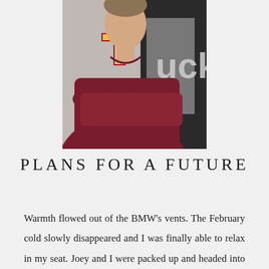[Figure (photo): A person wearing a maroon long-sleeve shirt with a large letter T logo, arms crossed, standing in front of another person wearing a black and silver shirt.]
PLANS FOR A FUTURE
Warmth flowed out of the BMW's vents. The February cold slowly disappeared and I was finally able to relax in my seat. Joey and I were packed up and headed into the great...